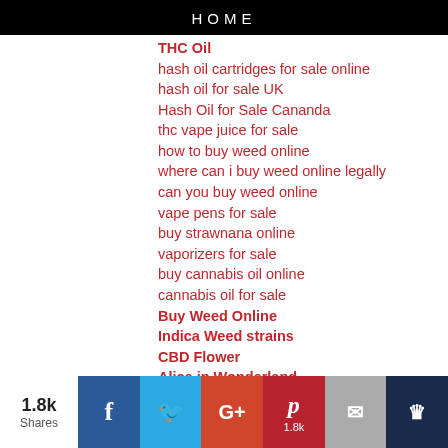HOME
THC Oil
hash oil cartridges for sale online
hash oil for sale UK
Hash Oil for Sale Cananda
thc vape juice for sale
how to buy weed online
where can i buy weed online legally
can you buy weed online
vape pens for sale
buy strawnana online
vaporizers for sale
buy cannabis oil online
cannabis oil for sale
Buy Weed Online
Indica Weed strains
CBD Flower
Alice in Wonderland
buy Alice in Wonderland online
Sativa Weed Strains
Hybrid Weed Strains